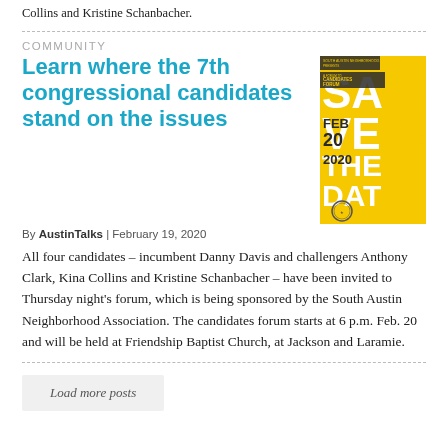Collins and Kristine Schanbacher.
COMMUNITY
Learn where the 7th congressional candidates stand on the issues
[Figure (illustration): Yellow 'Save The Date' event flyer showing FEB 20 2020 for a Candidates Forum]
By AustinTalks | February 19, 2020
All four candidates – incumbent Danny Davis and challengers Anthony Clark, Kina Collins and Kristine Schanbacher – have been invited to Thursday night's forum, which is being sponsored by the South Austin Neighborhood Association. The candidates forum starts at 6 p.m. Feb. 20 and will be held at Friendship Baptist Church, at Jackson and Laramie.
Load more posts